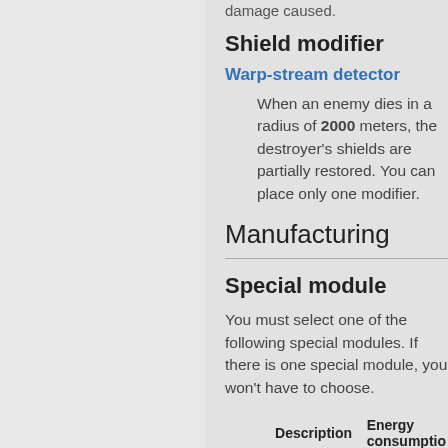damage caused.
Shield modifier
Warp-stream detector
When an enemy dies in a radius of 2000 meters, the destroyer's shields are partially restored. You can place only one modifier.
Manufacturing
Special module
You must select one of the following special modules. If there is one special module, you won't have to choose.
| Description | Energy consumption |
| --- | --- |
| Accumulates |  |